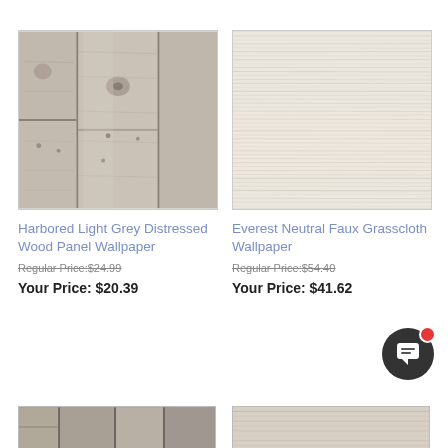[Figure (photo): Harbored Light Grey Distressed Wood Panel Wallpaper product image showing grey distressed wood plank texture]
[Figure (photo): Everest Neutral Faux Grasscloth Wallpaper product image showing light beige horizontal grasscloth texture]
Harbored Light Grey Distressed Wood Panel Wallpaper
Everest Neutral Faux Grasscloth Wallpaper
Regular Price:$24.99
Regular Price:$54.40
Your Price: $20.39
Your Price: $41.62
[Figure (photo): Partial thumbnail of a third wallpaper product at the bottom left]
[Figure (photo): Partial thumbnail of a fourth wallpaper product at the bottom right]